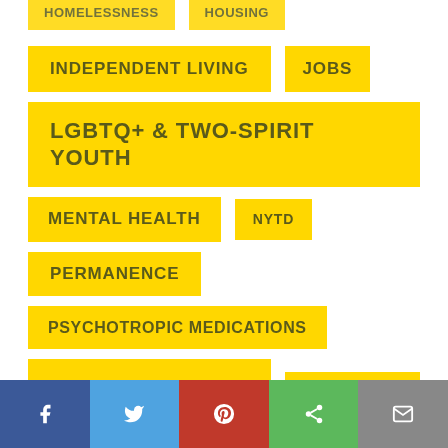HOMELESSNESS
HOUSING
INDEPENDENT LIVING
JOBS
LGBTQ+ & TWO-SPIRIT YOUTH
MENTAL HEALTH
NYTD
PERMANENCE
PSYCHOTROPIC MEDICATIONS
RIGHTS IN FOSTER CARE
SCHOLARSHIPS
SEX TRAFFICKING
SIBLING SEPARATION